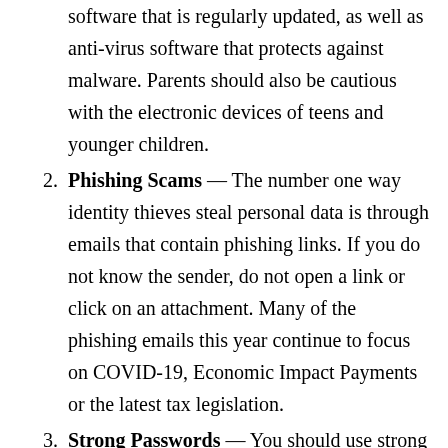software that is regularly updated, as well as anti-virus software that protects against malware. Parents should also be cautious with the electronic devices of teens and younger children.
Phishing Scams — The number one way identity thieves steal personal data is through emails that contain phishing links. If you do not know the sender, do not open a link or click on an attachment. Many of the phishing emails this year continue to focus on COVID-19, Economic Impact Payments or the latest tax legislation.
Strong Passwords — You should use strong passwords to ensure security for online